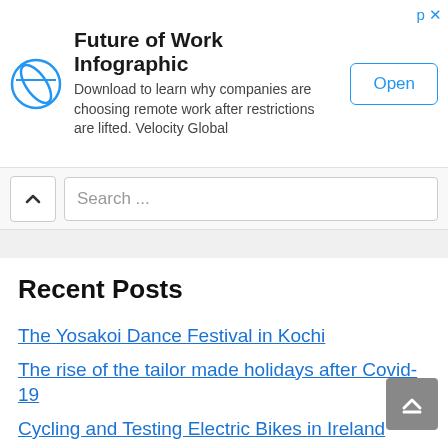[Figure (infographic): Advertisement banner for 'Future of Work Infographic' by Velocity Global, with a circular logo, descriptive text, and an 'Open' button.]
Search ...
Recent Posts
The Yosakoi Dance Festival in Kochi
The rise of the tailor made holidays after Covid-19
Cycling and Testing Electric Bikes in Ireland
Travel Tales and Tips from my Amsterdam Travel Blog